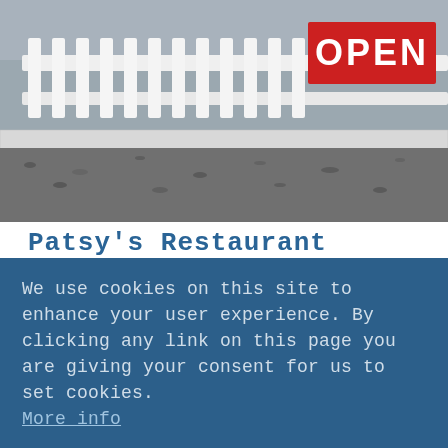[Figure (photo): Exterior photo of Patsy's Restaurant showing a white fence railing with an OPEN red banner sign on the right side, gravel ground, and building in the background.]
Patsy's Restaurant
Patsy's chefs pride themselves on using the highest quality ingredients and locally grown raw ...
We use cookies on this site to enhance your user experience. By clicking any link on this page you are giving your consent for us to set cookies. More info
GOT IT